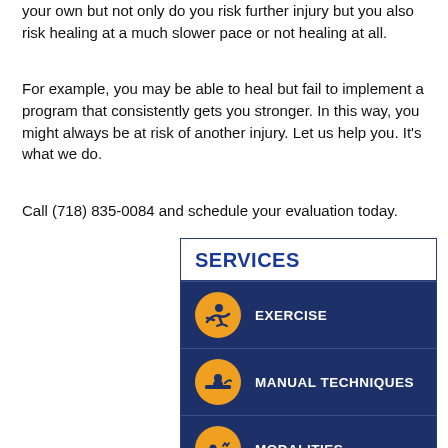your own but not only do you risk further injury but you also risk healing at a much slower pace or not healing at all.
For example, you may be able to heal but fail to implement a program that consistently gets you stronger. In this way, you might always be at risk of another injury. Let us help you. It's what we do.
Call (718) 835-0084 and schedule your evaluation today.
[Figure (infographic): Services menu with dark navy background rows, each containing an orange circular icon and white bold label text. Services listed: EXERCISE, MANUAL TECHNIQUES, MODALITIES, CARDIOVASCULAR CONDITIONING (partially visible). Header says SERVICES in bold blue on white background.]